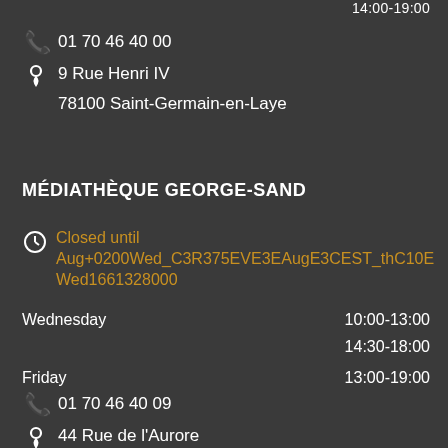14:00-19:00
01 70 46 40 00
9 Rue Henri IV
78100 Saint-Germain-en-Laye
MÉDIATHÈQUE GEORGE-SAND
Closed until Aug+0200Wed_C3R375EVE3EAugE3CEST_thC10EWed1661328000
Wednesday 10:00-13:00
14:30-18:00
Friday 13:00-19:00
01 70 46 40 09
44 Rue de l'Aurore
78100 Saint-Germain-en-Laye